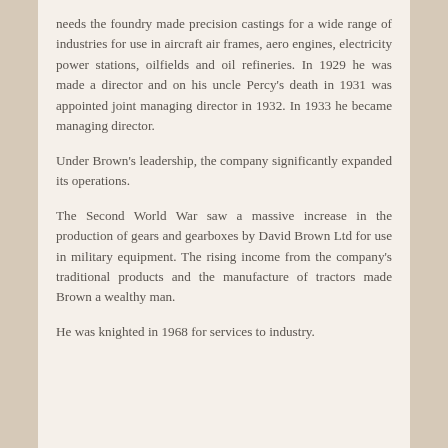needs the foundry made precision castings for a wide range of industries for use in aircraft air frames, aero engines, electricity power stations, oilfields and oil refineries. In 1929 he was made a director and on his uncle Percy's death in 1931 was appointed joint managing director in 1932. In 1933 he became managing director.
Under Brown's leadership, the company significantly expanded its operations.
The Second World War saw a massive increase in the production of gears and gearboxes by David Brown Ltd for use in military equipment. The rising income from the company's traditional products and the manufacture of tractors made Brown a wealthy man.
He was knighted in 1968 for services to industry.